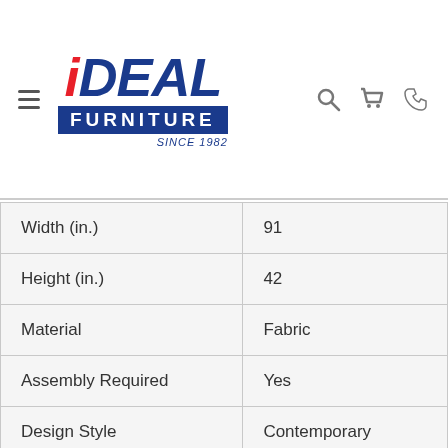iDEAL FURNITURE SINCE 1982
| Attribute | Value |
| --- | --- |
| Width (in.) | 91 |
| Height (in.) | 42 |
| Material | Fabric |
| Assembly Required | Yes |
| Design Style | Contemporary |
| Product Weight (lbs.) | 210 |
| Collection | Austere |